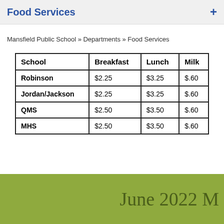Food Services
Mansfield Public School » Departments » Food Services
| School | Breakfast | Lunch | Milk |
| --- | --- | --- | --- |
| Robinson | $2.25 | $3.25 | $.60 |
| Jordan/Jackson | $2.25 | $3.25 | $.60 |
| QMS | $2.50 | $3.50 | $.60 |
| MHS | $2.50 | $3.50 | $.60 |
June 2022 M